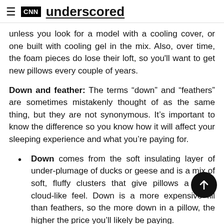CNN underscored
unless you look for a model with a cooling cover, or one built with cooling gel in the mix. Also, over time, the foam pieces do lose their loft, so you'll want to get new pillows every couple of years.
Down and feather: The terms “down” and “feathers” are sometimes mistakenly thought of as the same thing, but they are not synonymous. It’s important to know the difference so you know how it will affect your sleeping experience and what you’re paying for.
Down comes from the soft insulating layer of under-plumage of ducks or geese and is a mix of soft, fluffy clusters that give pillows a plush cloud-like feel. Down is a more expensive fill than feathers, so the more down in a pillow, the higher the price you’ll likely be paying.